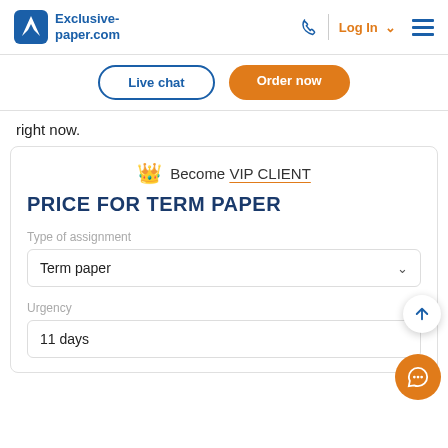Exclusive-paper.com
right now.
PRICE FOR TERM PAPER
Become VIP CLIENT
Type of assignment
Term paper
Urgency
11 days